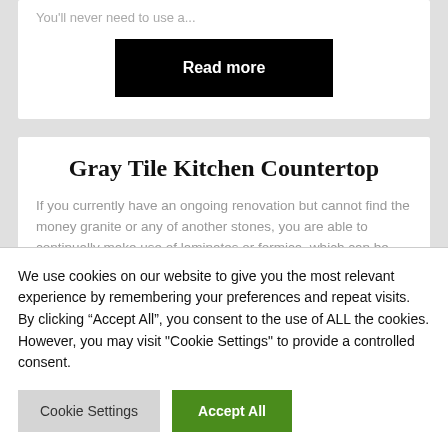You'll never need to use a...
Read more
Gray Tile Kitchen Countertop
If you currently have an ongoing renovation but cannot find the money granite or any of another stones, you are able to continually make use of laminates or formica, which can be
We use cookies on our website to give you the most relevant experience by remembering your preferences and repeat visits. By clicking "Accept All", you consent to the use of ALL the cookies. However, you may visit "Cookie Settings" to provide a controlled consent.
Cookie Settings
Accept All